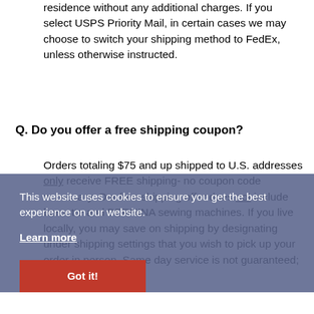residence without any additional charges. If you select USPS Priority Mail, in certain cases we may choose to switch your shipping method to FedEx, unless otherwise instructed.
Q. Do you offer a free shipping coupon?
Orders totaling $75 and up shipped to U.S. addresses only receive FREE shipping- no coupon code necessary. Our free shipping offer does not include bernette and BERNINA sewing machines. If you live locally, you may save on shipping by designating under shipping settings that you wish to pick up your order in person. Same day service is not guaranteed; we will
This website uses cookies to ensure you get the best experience on our website. Learn more
Got it!